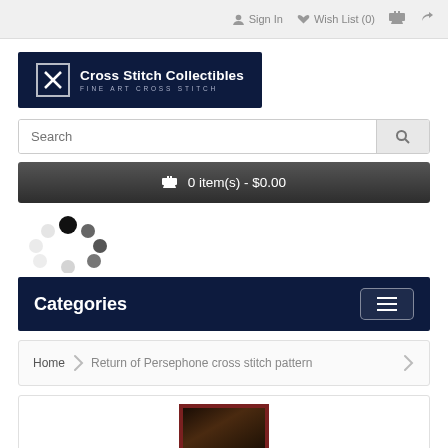Sign In  Wish List (0)  Cart  Share
[Figure (logo): Cross Stitch Collectibles logo — dark navy background with an X icon in a bordered square, text 'Cross Stitch Collectibles' and 'FINE ART CROSS STITCH']
Search
🛒 0 item(s) - $0.00
[Figure (other): Loading spinner made of grey and dark dots arranged in a circular pattern]
Categories
Home  ❯  Return of Persephone cross stitch pattern
[Figure (photo): Partially visible product image in a dark red/maroon frame showing a cross stitch artwork]